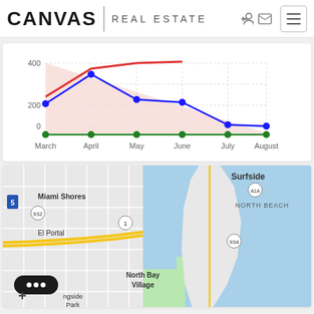[Figure (logo): Canvas Real Estate logo with house icons in letters, vertical divider, and 'REAL ESTATE' text]
[Figure (line-chart): Monthly listings chart]
[Figure (map): Google Maps screenshot showing Miami area including Surfside, North Beach, Miami Shores, El Portal, North Bay Village, and surrounding roads and waterways]